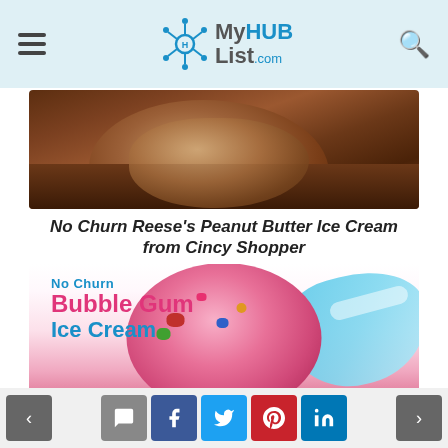MyHUBList.com
[Figure (photo): Close-up photo of a chocolate peanut butter ice cream scoop in a bowl]
No Churn Reese's Peanut Butter Ice Cream from Cincy Shopper
[Figure (photo): Pink bubble gum ice cream scoop with colorful candy pieces and blue/white striped cone accent, text overlay reading 'No Churn Bubble Gum Ice Cream']
< comment facebook twitter pinterest linkedin >